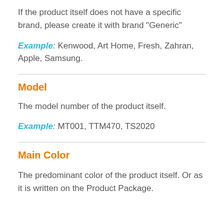If the product itself does not have a specific brand, please create it with brand “Generic”
Example: Kenwood, Art Home, Fresh, Zahran, Apple, Samsung.
Model
The model number of the product itself.
Example: MT001, TTM470, TS2020
Main Color
The predominant color of the product itself. Or as it is written on the Product Package.